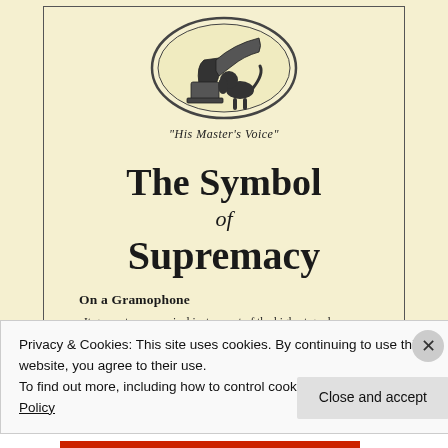[Figure (illustration): His Master's Voice gramophone advertisement illustration: a dog listening to a gramophone horn at top, with the caption "His Master's Voice" in italic text below the circle illustration. Below that large text reads 'The Symbol of Supremacy'. Subheading reads 'On a Gramophone' followed by body text: 'It guarantees a musical instrument of the highest grade, beautifully designed and perfectly finished in every part.']
Privacy & Cookies: This site uses cookies. By continuing to use this website, you agree to their use.
To find out more, including how to control cookies, see here: Cookie Policy
Close and accept